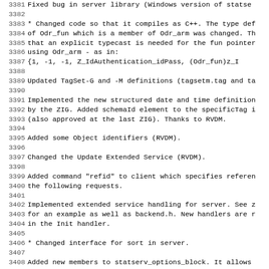3381 Fixed bug in server library (Windows version of statse...
3382
3383 * Changed code so that it compiles as C++. The type def
3384 of Odr_fun which is a member of Odr_arm was changed. Th
3385 that an explicit typecast is needed for the fun pointer
3386 using Odr_arm - as in:
3387     {1, -1, -1, Z_IdAuthentication_idPass, (Odr_fun)z_I
3388
3389 Updated TagSet-G and -M definitions (tagsetm.tag and ta
3390
3391 Implemented the new structured date and time definition
3392 by the ZIG. Added schemaId element to the specificTag i
3393 (also approved at the last ZIG). Thanks to RVDM.
3394
3395 Added some Object identifiers (RVDM).
3396
3397 Changed the Update Extended Service (RVDM).
3398
3399 Added command "refid" to client which specifies referen
3400 the following requests.
3401
3402 Implemented extended service handling for server. See z
3403 for an example as well as backend.h. New handlers are r
3404 in the Init handler.
3405
3406 * Changed interface for sort in server.
3407
3408 Added new members to statserv_options_block. It allows
3409 to read options from another source than just the comma
3410 to Charles Woodfield.
3411
3412 * Changed definition of Z_Triple in file prt-grs.h - me
3413 ...